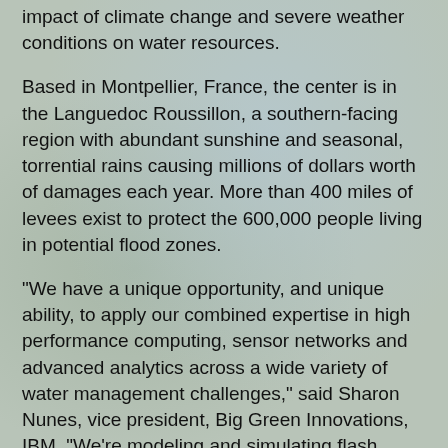impact of climate change and severe weather conditions on water resources.
Based in Montpellier, France, the center is in the Languedoc Roussillon, a southern-facing region with abundant sunshine and seasonal, torrential rains causing millions of dollars worth of damages each year. More than 400 miles of levees exist to protect the 600,000 people living in potential flood zones.
"We have a unique opportunity, and unique ability, to apply our combined expertise in high performance computing, sensor networks and advanced analytics across a wide variety of water management challenges," said Sharon Nunes, vice president, Big Green Innovations, IBM. "We're modeling and simulating flash flooding scenarios, water management infrastructures, reservoir systems and more to develop new innovations for predicting, managing and sometimes even preventing events that might otherwise have a negative impact on a region's water supply."
The center's high performance computing modeling capabilities, combined with resilient sensor networks will